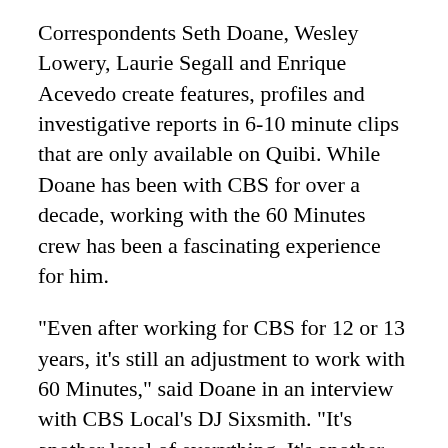Correspondents Seth Doane, Wesley Lowery, Laurie Segall and Enrique Acevedo create features, profiles and investigative reports in 6-10 minute clips that are only available on Quibi. While Doane has been with CBS for over a decade, working with the 60 Minutes crew has been a fascinating experience for him.
"Even after working for CBS for 12 or 13 years, it's still an adjustment to work with 60 Minutes," said Doane in an interview with CBS Local's DJ Sixsmith. "It's another level of everything. It's another level of scrutiny, storytelling, excellence and technical prowess. It's unbelievable to walk in with a 60 Minutes crew. It's another world.
FULL INTERVIEW: